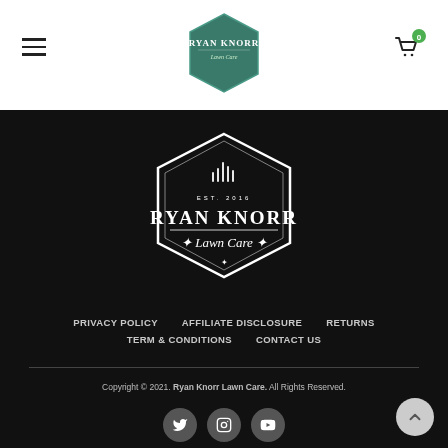Ryan Knorr Lawn Care — navigation header with hamburger menu and cart icon
[Figure (logo): Ryan Knorr Lawn Care hexagon logo with white text on dark teal background]
[Figure (logo): Ryan Knorr Lawn Care EST. 2016 hexagon badge logo in white on black background]
PRIVACY POLICY
AFFILIATE DISCLOSURE
RETURNS
TERM & CONDITIONS
CONTACT US
Copyright © 2021. Ryan Knorr Lawn Care. All Rights Reserved.
[Figure (other): Social media icons: Twitter, Instagram, YouTube circles in gray]